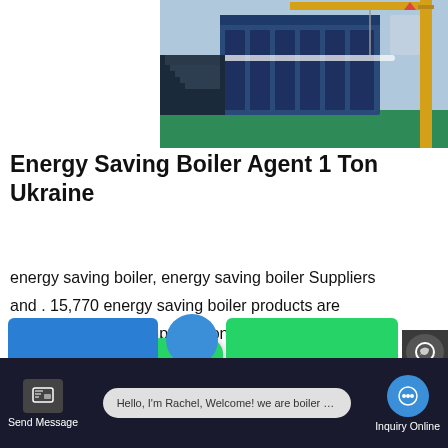[Figure (photo): Industrial boiler manufacturing facility with large blue boiler equipment, yellow crane on right, green floor, machinery on left side]
Energy Saving Boiler Agent 1 Ton Ukraine
energy saving boiler, energy saving boiler Suppliers and . 15,770 energy saving boiler products are offered for sale by suppliers on Alibaba.com, of which boilers accounts for 34%, gas water heaters accounts for 1%, and electric kettles accounts for 1%. A wide variety of energy saving boiler options are available to you, such as industrial
[Figure (screenshot): WhatsApp icon (green rounded square with phone handset logo) overlaid on page content]
[Figure (screenshot): Green 'Contact us now!' button overlay]
Hello, I'm Rachel, Welcome! we are boiler factory!
Send Message
Inquiry Online